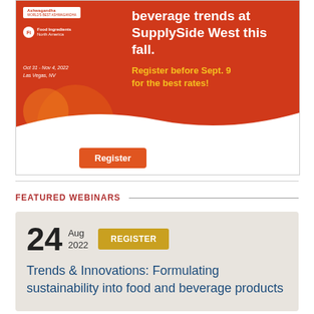[Figure (advertisement): SupplySide West and Food Ingredients North America advertisement banner with red background. Text: 'beverage trends at SupplySide West this fall.' with orange/yellow CTA 'Register before Sept. 9 for the best rates!' and orange Register button. Event dates Oct 31 - Nov 4, 2022, Las Vegas, NV.]
FEATURED WEBINARS
24 Aug 2022 REGISTER
Trends & Innovations: Formulating sustainability into food and beverage products